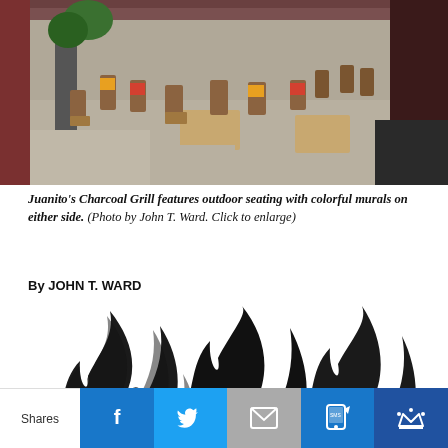[Figure (photo): Outdoor seating area of Juanito's Charcoal Grill showing wooden tables and chairs with colorful murals on the walls]
Juanito's Charcoal Grill features outdoor seating with colorful murals on either side. (Photo by John T. Ward. Click to enlarge)
By JOHN T. WARD
[Figure (logo): Juanito's Charcoal Grill logo with black flame design and yellow text]
Shares | Facebook | Twitter | Email | SMS | Crown